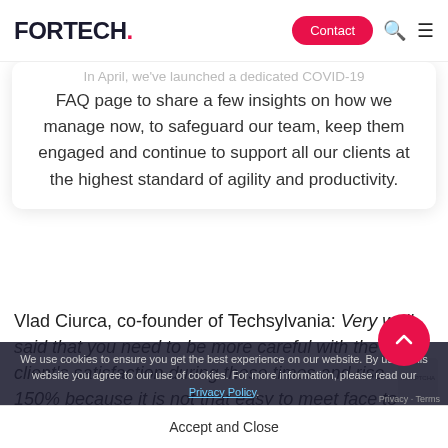FORTECH.
In April, we've launched a dedicated COVID-19 FAQ page to share a few insights on how we manage now, to safeguard our team, keep them engaged and continue to support all our clients at the highest standard of agility and productivity.
Vlad Ciurca, co-founder of Techsylvania: Very well said that you need to be more careful with the client's satisfaction during these times and rise 150% because it is not that easy to meet face to face and discuss the issues you could've addressed in physical meetings before.
We use cookies to ensure you get the best experience on our website. By using this website you agree to our use of cookies. For more information, please read our Privacy Policy.
Accept and Close